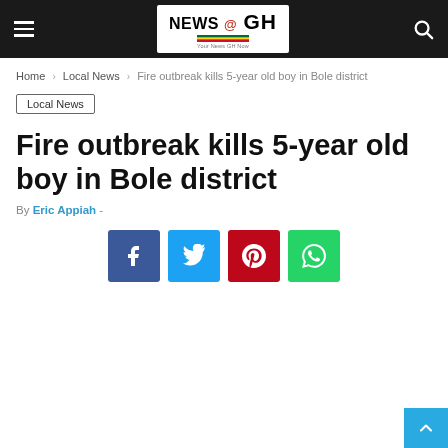NEWS @ GH — Your News GH Now
Home › Local News › Fire outbreak kills 5-year old boy in Bole district
Local News
Fire outbreak kills 5-year old boy in Bole district
By Eric Appiah -
[Figure (infographic): Social media share buttons: Facebook (blue), Twitter (light blue), Pinterest (red), WhatsApp (green)]